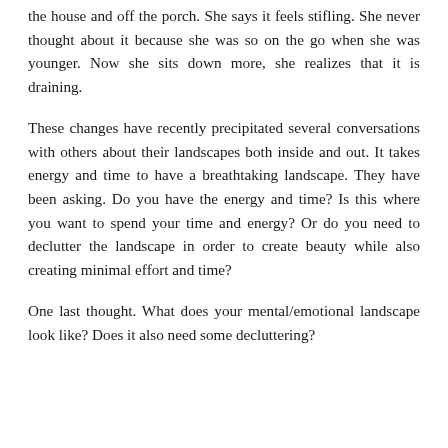the house and off the porch. She says it feels stifling. She never thought about it because she was so on the go when she was younger. Now she sits down more, she realizes that it is draining.
These changes have recently precipitated several conversations with others about their landscapes both inside and out. It takes energy and time to have a breathtaking landscape. They have been asking. Do you have the energy and time? Is this where you want to spend your time and energy? Or do you need to declutter the landscape in order to create beauty while also creating minimal effort and time?
One last thought. What does your mental/emotional landscape look like? Does it also need some decluttering?